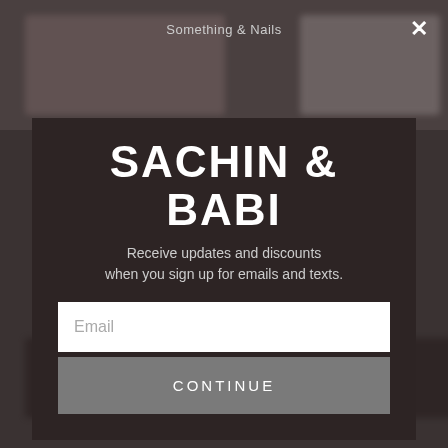[Figure (screenshot): Blurred dark background showing a website with product images, nav bar text reading 'Something & Nails' partially visible, and a close X button in the top right corner]
SACHIN & BABI
Receive updates and discounts when you sign up for emails and texts.
Email
CONTINUE